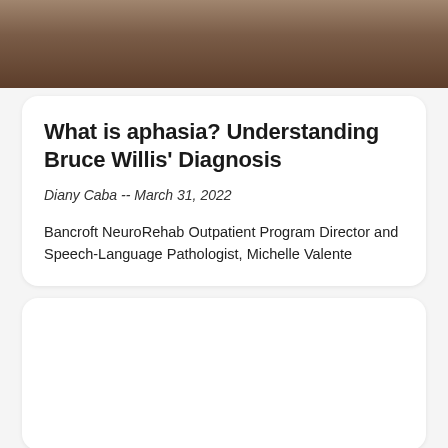[Figure (photo): Partial photo of a woman with curly dark hair, cropped to show face and upper body, dark background]
What is aphasia? Understanding Bruce Willis' Diagnosis
Diany Caba -- March 31, 2022
Bancroft NeuroRehab Outpatient Program Director and Speech-Language Pathologist, Michelle Valente
[Figure (photo): Empty white card placeholder at bottom of page]